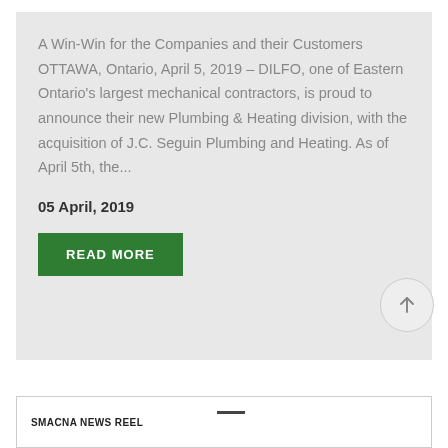A Win-Win for the Companies and their Customers OTTAWA, Ontario, April 5, 2019 – DILFO, one of Eastern Ontario's largest mechanical contractors, is proud to announce their new Plumbing & Heating division, with the acquisition of J.C. Seguin Plumbing and Heating. As of April 5th, the...
05 April, 2019
READ MORE
SMACNA NEWS REEL